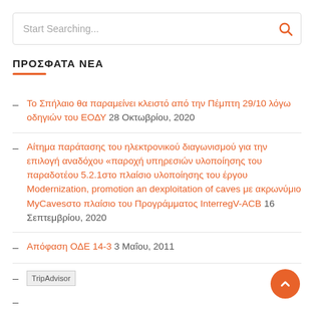Start Searching...
ΠΡΟΣΦΑΤΑ ΝΕΑ
Το Σπήλαιο θα παραμείνει κλειστό από την Πέμπτη 29/10 λόγω οδηγιών του ΕΟΔΥ 28 Οκτωβρίου, 2020
Αίτημα παράτασης του ηλεκτρονικού διαγωνισμού για την επιλογή αναδόχου «παροχή υπηρεσιών υλοποίησης του παραδοτέου 5.2.1στο πλαίσιο υλοποίησης του έργου Modernization, promotion an dexploitation of caves με ακρωνύμιο MyCavesστο πλαίσιο του Προγράμματος InterregV-ACB 16 Σεπτεμβρίου, 2020
Απόφαση ΟΔΕ 14-3 3 Μαΐου, 2011
TripAdvisor